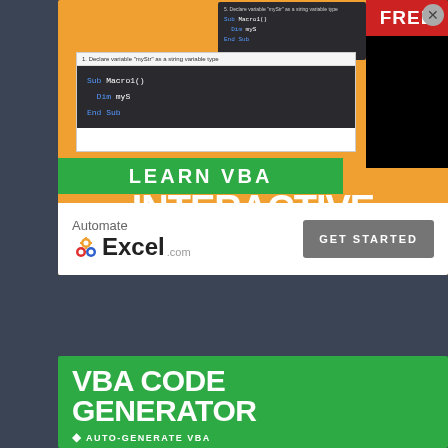[Figure (screenshot): Interactive VBA Tutorial advertisement banner for AutomateExcel.com with orange background, code screenshots, green LEARN VBA bar, large white INTERACTIVE VBA TUTORIAL text, and GET STARTED button]
[Figure (screenshot): VBA Code Generator advertisement banner with green background, large white VBA CODE GENERATOR text, and AUTO-GENERATE VBA bullet point]